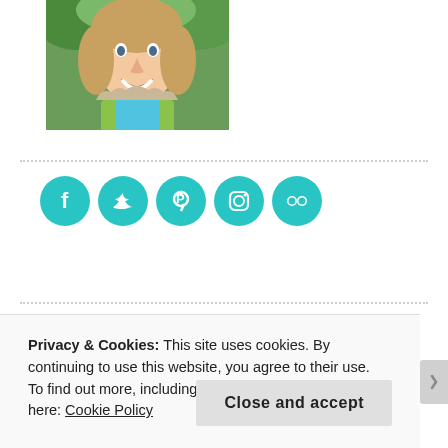[Figure (photo): Cropped photo of a smiling woman wearing a green vest/hoodie and blue shirt, outdoors with green foliage background]
[Figure (infographic): Row of five teal/cyan circular social media icons: Facebook, Twitter, Pinterest, Instagram, Flickr]
SHOPPING
[Figure (illustration): Shopping banner with orange/yellow background, white inner border, text 'WE [heart] [flame icon]' in brown lettering]
Privacy & Cookies: This site uses cookies. By continuing to use this website, you agree to their use.
To find out more, including how to control cookies, see here: Cookie Policy
Close and accept